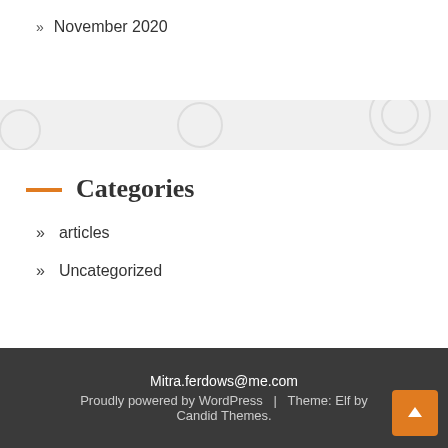» November 2020
Categories
» articles
» Uncategorized
Mitra.ferdows@me.com
Proudly powered by WordPress | Theme: Elf by Candid Themes.